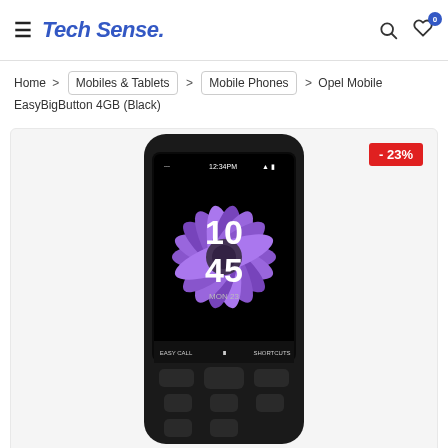Tech Sense.
Home > Mobiles & Tablets > Mobile Phones > Opel Mobile EasyBigButton 4GB (Black)
[Figure (photo): Opel Mobile EasyBigButton 4GB Black smartphone showing purple gerbera daisy wallpaper with clock reading 10:45, MON 23, with -23% discount badge in top right corner]